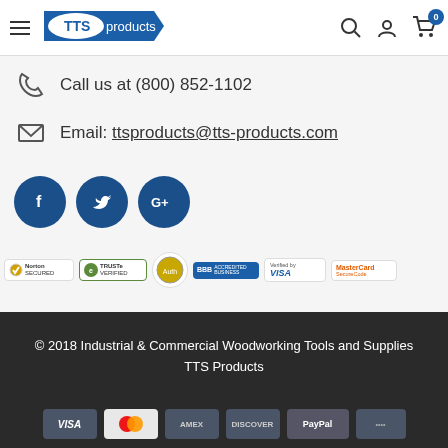TTS Products navigation header with logo, search, account, and cart icons
Call us at (800) 852-1102
Email: ttsproducts@tts-products.com
[Figure (illustration): Social media buttons: Facebook, Twitter, Google+]
[Figure (illustration): Trust badges: Norton Secured, TRUSTe Verified, Authorize.net, BBB Accredited Business, Verified by VISA, MasterCard SecureCode]
© 2018 Industrial & Commercial Woodworking Tools and Supplies
TTS Products
[Figure (illustration): Payment method icons: Visa, Mastercard, Amex, Discover, PayPal, and others]